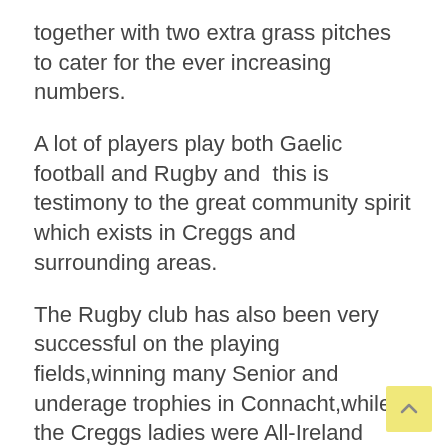together with two extra grass pitches to cater for the ever increasing numbers.
A lot of players play both Gaelic football and Rugby and  this is testimony to the great community spirit which exists in Creggs and surrounding areas.
The Rugby club has also been very successful on the playing fields,winning many Senior and underage trophies in Connacht,while the Creggs ladies were All-Ireland champions on two occasions.